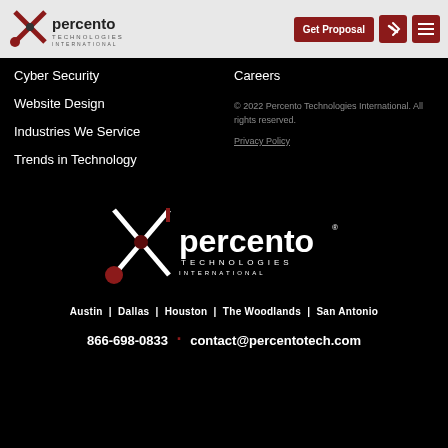[Figure (logo): Percento Technologies International logo in header bar]
Get Proposal | [wrench icon] | [menu icon]
Cyber Security
Website Design
Industries We Service
Trends in Technology
Careers
© 2022 Percento Technologies International. All rights reserved.
Privacy Policy
[Figure (logo): Percento Technologies International large white logo on black background]
Austin | Dallas | Houston | The Woodlands | San Antonio
866-698-0833 · contact@percentotech.com